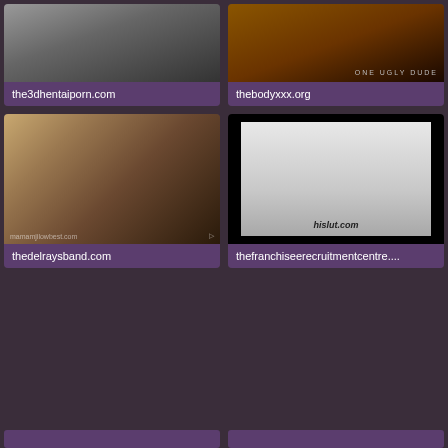[Figure (photo): Thumbnail image for the3dhentaiporn.com, dark grey tones]
the3dhentaiporn.com
[Figure (photo): Thumbnail image for thebodyxxx.org, warm orange dark tones with text ONE UGLY DUDE]
thebodyxxx.org
[Figure (photo): Thumbnail image for thedelraysband.com, room scene with couch]
thedelraysband.com
[Figure (photo): Thumbnail image for thefranchiseerecruitmentcentre, figure on white/black background with hislut.com watermark]
thefranchiseerecruitmentcentre....